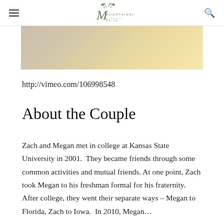Mountainside Bride — navigation header with hamburger menu, logo, and search icon
[Figure (photo): Partial photo of a table setting with white/cream linens on a wooden surface, warm tones]
http://vimeo.com/106998548
About the Couple
Zach and Megan met in college at Kansas State University in 2001.  They became friends through some common activities and mutual friends. At one point, Zach took Megan to his freshman formal for his fraternity. After college, they went their separate ways – Megan to Florida, Zach to Iowa.  In 2010, Megan…